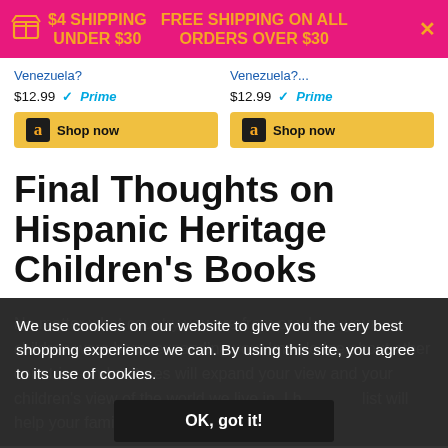$4 SHIPPING UNDER $30  FREE SHIPPING ON ALL ORDERS OVER $30
Venezuela?
$12.99 Prime
Venezuela?...
$12.99 Prime
Shop now
Shop now
Final Thoughts on Hispanic Heritage Children's Books
No matter what country you are from or where your children were born, expanding your knowledge about other countries and cultures will expand your view and your children's view of the world we live in. I h list will help your family achieve that.
We use cookies on our website to give you the very best shopping experience we can. By using this site, you agree to its use of cookies.
OK, got it!